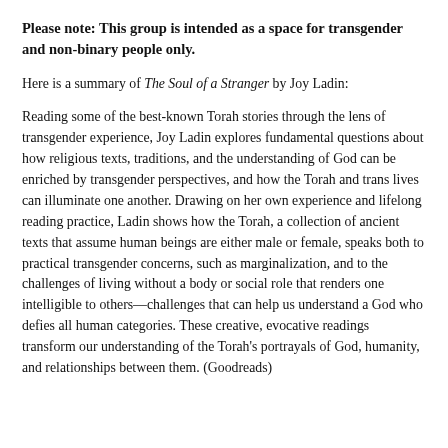Please note: This group is intended as a space for transgender and non-binary people only.
Here is a summary of The Soul of a Stranger by Joy Ladin:
Reading some of the best-known Torah stories through the lens of transgender experience, Joy Ladin explores fundamental questions about how religious texts, traditions, and the understanding of God can be enriched by transgender perspectives, and how the Torah and trans lives can illuminate one another. Drawing on her own experience and lifelong reading practice, Ladin shows how the Torah, a collection of ancient texts that assume human beings are either male or female, speaks both to practical transgender concerns, such as marginalization, and to the challenges of living without a body or social role that renders one intelligible to others—challenges that can help us understand a God who defies all human categories. These creative, evocative readings transform our understanding of the Torah's portrayals of God, humanity, and relationships between them. (Goodreads)